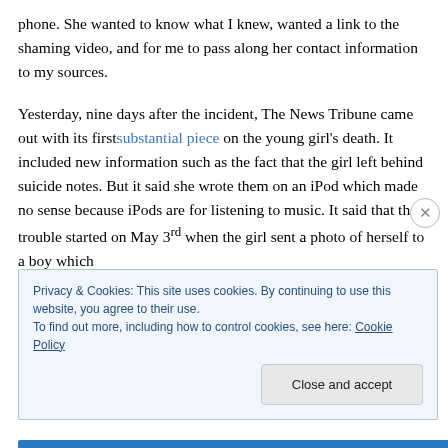phone. She wanted to know what I knew, wanted a link to the shaming video, and for me to pass along her contact information to my sources.
Yesterday, nine days after the incident, The News Tribune came out with its first substantial piece on the young girl's death. It included new information such as the fact that the girl left behind suicide notes. But it said she wrote them on an iPod which made no sense because iPods are for listening to music. It said that the trouble started on May 3rd when the girl sent a photo of herself to a boy which
Privacy & Cookies: This site uses cookies. By continuing to use this website, you agree to their use.
To find out more, including how to control cookies, see here: Cookie Policy